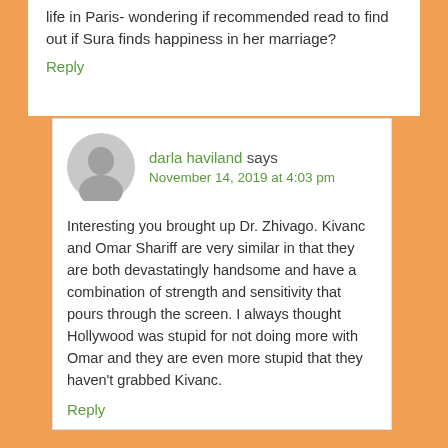life in Paris- wondering if recommended read to find out if Sura finds happiness in her marriage?
Reply
darla haviland says
November 14, 2019 at 4:03 pm
Interesting you brought up Dr. Zhivago. Kivanc and Omar Shariff are very similar in that they are both devastatingly handsome and have a combination of strength and sensitivity that pours through the screen. I always thought Hollywood was stupid for not doing more with Omar and they are even more stupid that they haven't grabbed Kivanc.
Reply